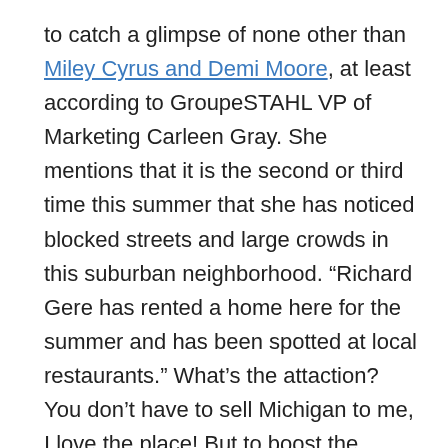to catch a glimpse of none other than Miley Cyrus and Demi Moore, at least according to GroupeSTAHL VP of Marketing Carleen Gray. She mentions that it is the second or third time this summer that she has noticed blocked streets and large crowds in this suburban neighborhood. “Richard Gere has rented a home here for the summer and has been spotted at local restaurants.” What’s the attaction? You don’t have to sell Michigan to me, I love the place! But to boost the economy in the state, and lure jobs to Michigan, the state put a series of tax incentives into effect in 2008. This however, has not been enough to turn Detroit into the next Hollywood, and there have also been reports of fraud and corruption, with folks trying to take unfair advantage of the tax credits offered. If you’ve seen